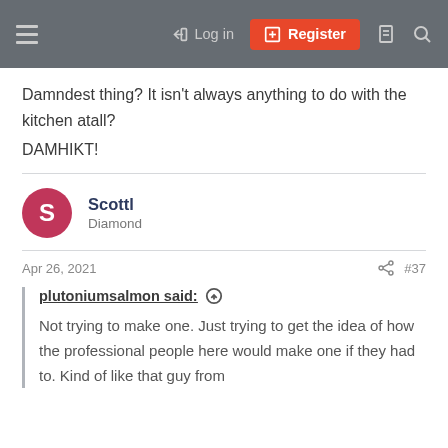Log in | Register
Damndest thing? It isn't always anything to do with the kitchen atall?
DAMHIKT!
Scottl – Diamond
Apr 26, 2021  #37
plutoniumsalmon said: Not trying to make one. Just trying to get the idea of how the professional people here would make one if they had to. Kind of like that guy from